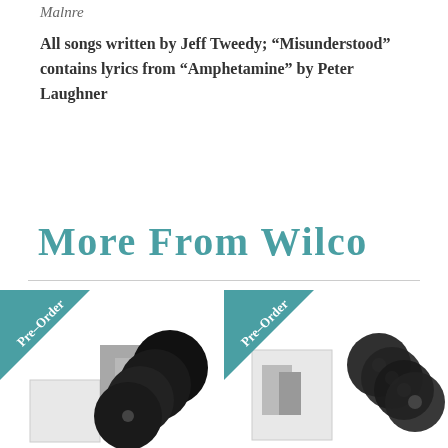Malnre
All songs written by Jeff Tweedy; “Misunderstood” contains lyrics from “Amphetamine” by Peter Laughner
More From Wilco
[Figure (photo): Two Wilco album product bundles with Pre-Order ribbon badges. Left product shows vinyl records with album artwork. Right product shows CDs with album artwork.]